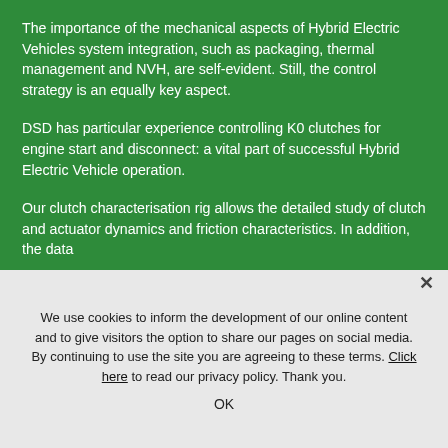The importance of the mechanical aspects of Hybrid Electric Vehicles system integration, such as packaging, thermal management and NVH, are self-evident. Still, the control strategy is an equally key aspect.
DSD has particular experience controlling K0 clutches for engine start and disconnect: a vital part of successful Hybrid Electric Vehicle operation.
Our clutch characterisation rig allows the detailed study of clutch and actuator dynamics and friction characteristics. In addition, the data
We use cookies to inform the development of our online content and to give visitors the option to share our pages on social media. By continuing to use the site you are agreeing to these terms. Click here to read our privacy policy. Thank you.
OK